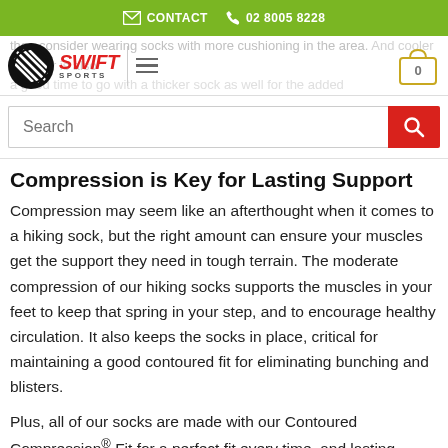CONTACT  02 8005 8228
[Figure (logo): Swift Sports logo with striped circular emblem and red SWIFT text above SPORTS]
then consider wearing socks with more cushioning in the area. And cooler weather is also a good time to go with a thicker sock as well for the added
Search
Compression is Key for Lasting Support
Compression may seem like an afterthought when it comes to a hiking sock, but the right amount can ensure your muscles get the support they need in tough terrain. The moderate compression of our hiking socks supports the muscles in your feet to keep that spring in your step, and to encourage healthy circulation. It also keeps the socks in place, critical for maintaining a good contoured fit for eliminating bunching and blisters.
Plus, all of our socks are made with our Contoured Compression® Fit for a perfect fit every time, and lasting